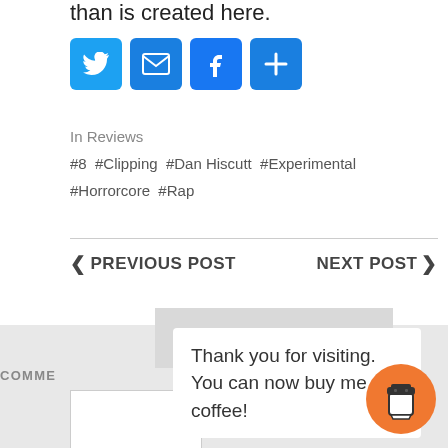than is created here.
[Figure (screenshot): Social share buttons: Twitter, Email, Facebook, Share (plus icon), all in blue rounded square icons]
In Reviews
#8 #Clipping #Dan Hiscutt #Experimental #Horrorcore #Rap
< PREVIOUS POST    NEXT POST >
LEAVE A REPLY
COMME
Thank you for visiting. You can now buy me a coffee!
[Figure (illustration): Orange circular coffee cup button icon]